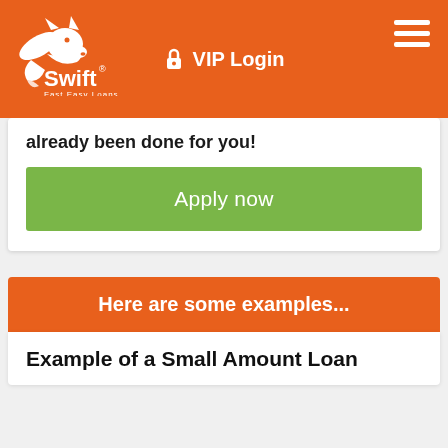[Figure (logo): Swift Fast Easy Loans fox logo in white on orange background]
VIP Login
already been done for you!
Apply now
Here are some examples...
Example of a Small Amount Loan